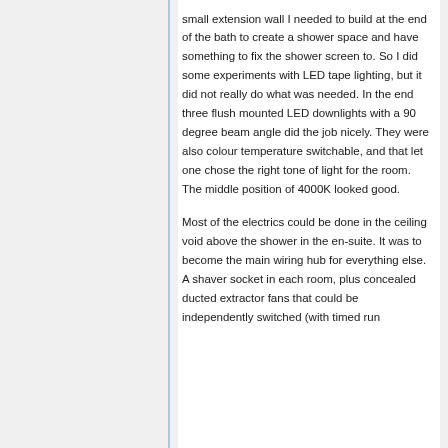small extension wall I needed to build at the end of the bath to create a shower space and have something to fix the shower screen to. So I did some experiments with LED tape lighting, but it did not really do what was needed. In the end three flush mounted LED downlights with a 90 degree beam angle did the job nicely. They were also colour temperature switchable, and that let one chose the right tone of light for the room. The middle position of 4000K looked good.
Most of the electrics could be done in the ceiling void above the shower in the en-suite. It was to become the main wiring hub for everything else. A shaver socket in each room, plus concealed ducted extractor fans that could be independently switched (with timed run